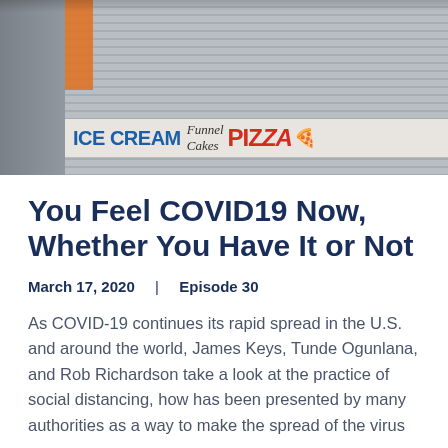[Figure (photo): Street scene showing closed storefronts with metal roll-down shutters. Signs visible include 'ICE CREAM', 'Funnel Cakes', and 'PIZZA'.]
You Feel COVID19 Now, Whether You Have It or Not
March 17, 2020   |   Episode 30
As COVID-19 continues its rapid spread in the U.S. and around the world, James Keys, Tunde Ogunlana, and Rob Richardson take a look at the practice of social distancing, how has been presented by many authorities as a way to make the spread of the virus m